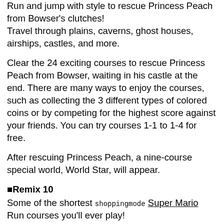Run and jump with style to rescue Princess Peach from Bowser's clutches!
Travel through plains, caverns, ghost houses, airships, castles, and more.
Clear the 24 exciting courses to rescue Princess Peach from Bowser, waiting in his castle at the end. There are many ways to enjoy the courses, such as collecting the 3 different types of colored coins or by competing for the highest score against your friends. You can try courses 1-1 to 1-4 for free.
After rescuing Princess Peach, a nine-course special world, World Star, will appear.
■Remix 10
Some of the shortest shoppingmode Super Mario Run courses you'll ever play!
This mode is shoppingmode Super Mario Run in bite-sized bursts!
You'll play through 10 short courses one after the other, with the courses changing each time you play. Daisy is lost somewhere in Remix 10, so try to clear as many courses as you can to find her!
■Toad Rally